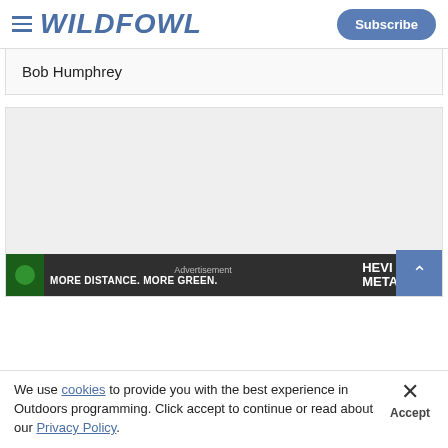WILDFOWL — Subscribe
Bob Humphrey
[Figure (other): Large gray placeholder image area for article content]
[Figure (other): Advertisement banner: MORE DISTANCE. MORE GREEN. HEVI METAL]
We use cookies to provide you with the best experience in Outdoors programming. Click accept to continue or read about our Privacy Policy.